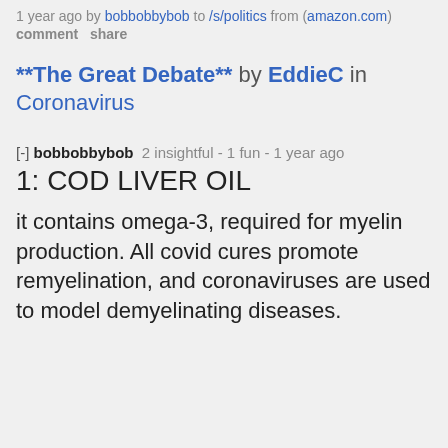1 year ago by bobbobbybob to /s/politics from (amazon.com)
comment  share
**The Great Debate** by EddieC in Coronavirus
[-] bobbobbybob  2 insightful - 1 fun - 1 year ago
1: COD LIVER OIL
it contains omega-3, required for myelin production. All covid cures promote remyelination, and coronaviruses are used to model demyelinating diseases.